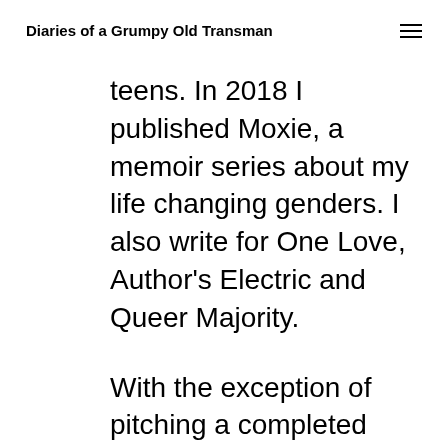Diaries of a Grumpy Old Transman
teens. In 2018 I published Moxie, a memoir series about my life changing genders. I also write for One Love, Author's Electric and Queer Majority.
With the exception of pitching a completed manuscript to a publisher, I've done